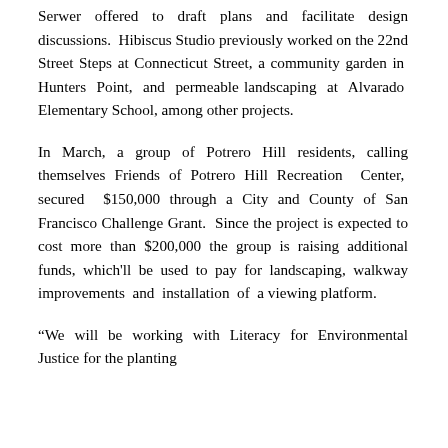Serwer offered to draft plans and facilitate design discussions. Hibiscus Studio previously worked on the 22nd Street Steps at Connecticut Street, a community garden in Hunters Point, and permeable landscaping at Alvarado Elementary School, among other projects.
In March, a group of Potrero Hill residents, calling themselves Friends of Potrero Hill Recreation Center, secured $150,000 through a City and County of San Francisco Challenge Grant. Since the project is expected to cost more than $200,000 the group is raising additional funds, which'll be used to pay for landscaping, walkway improvements and installation of a viewing platform.
“We will be working with Literacy for Environmental Justice for the planting piece of the project, as we have a...